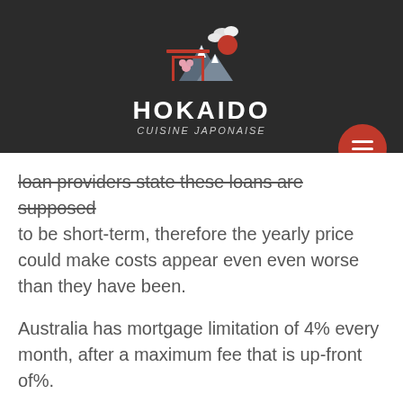[Figure (logo): Hokaido Cuisine Japonaise logo with torii gate, mountains, clouds and red sun on dark background with hamburger menu button]
loan providers state these loans are supposed to be short-term, therefore the yearly price could make costs appear even even worse than they have been.
Australia has mortgage limitation of 4% every month, after a maximum fee that is up-front of%.
Nevertheless, even yet in Australia, borrowers can nevertheless face hefty fees.
Charges for belated re re payment are